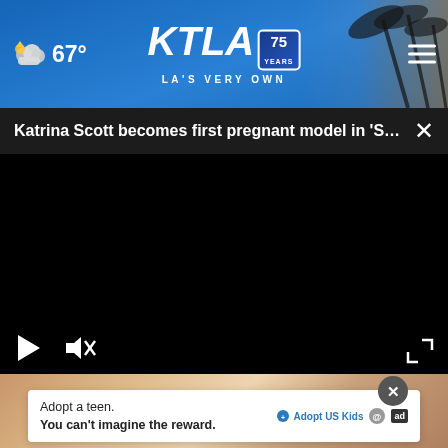KTLA 75 Years - LA's Very Own | 67°
Katrina Scott becomes first pregnant model in 'Sp...
[Figure (screenshot): Black video player with play button, mute button, and fullscreen expand button at bottom. Video content not visible (black screen).]
[Figure (photo): Partial view of a person, background blurred, pinkish tones visible at bottom of page.]
Adopt a teen. You can't imagine the reward.